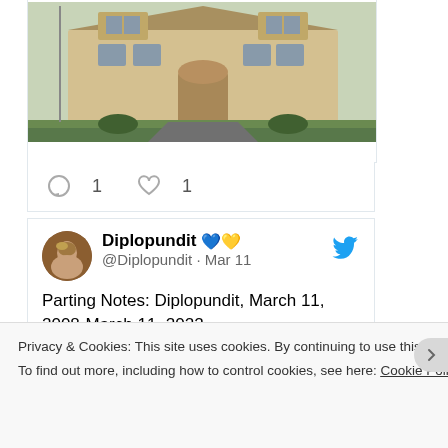[Figure (photo): Photograph of a large stone manor/official building with green lawn in front, taken from ground level looking up. Building is multi-story with dormer windows and arched entrance.]
1  1
Diplopundit 💙💛 @Diplopundit · Mar 11
Parting Notes: Diplopundit, March 11, 2008-March 11, 2022
diplopundit.net/2022/03/11/par…
Privacy & Cookies: This site uses cookies. By continuing to use this website, you agree to their use.
To find out more, including how to control cookies, see here: Cookie Policy
Close and accept